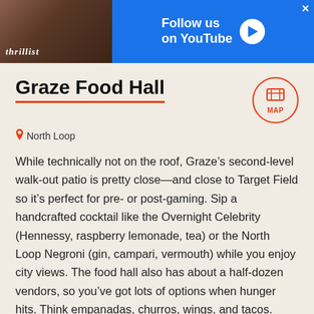[Figure (screenshot): Thrillist advertisement banner with 'Follow us on YouTube' text, blue background, and a photo of a person]
Graze Food Hall
North Loop
While technically not on the roof, Graze’s second-level walk-out patio is pretty close—and close to Target Field so it’s perfect for pre- or post-gaming. Sip a handcrafted cocktail like the Overnight Celebrity (Hennessy, raspberry lemonade, tea) or the North Loop Negroni (gin, campari, vermouth) while you enjoy city views. The food hall also has about a half-dozen vendors, so you’ve got lots of options when hunger hits. Think empanadas, churros, wings, and tacos.